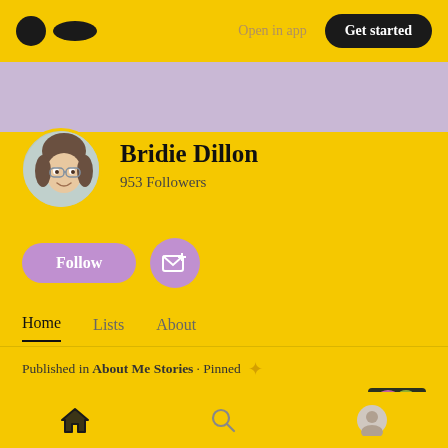Open in app  Get started
[Figure (photo): Lavender/purple banner header background]
[Figure (photo): Circular avatar photo of Bridie Dillon]
Bridie Dillon
953 Followers
Follow
Home   Lists   About
Published in About Me Stories · Pinned
About Me — Bridie D
[Figure (photo): Thumbnail image for article About Me — Bridie D]
Home  Search  Profile